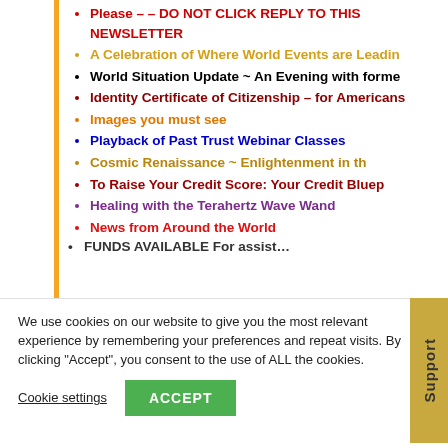Please – – DO NOT CLICK REPLY TO THIS NEWSLETTER
A Celebration of Where World Events are Leading
World Situation Update ~ An Evening with forme
Identity Certificate of Citizenship – for Americans
Images you must see
Playback of Past Trust Webinar Classes
Cosmic Renaissance ~ Enlightenment in th
To Raise Your Credit Score: Your Credit Bluep
Healing with the Terahertz Wave Wand
News from Around the World
FUNDS AVAILABLE For assist…
We use cookies on our website to give you the most relevant experience by remembering your preferences and repeat visits. By clicking "Accept", you consent to the use of ALL the cookies.
Cookie settings  ACCEPT